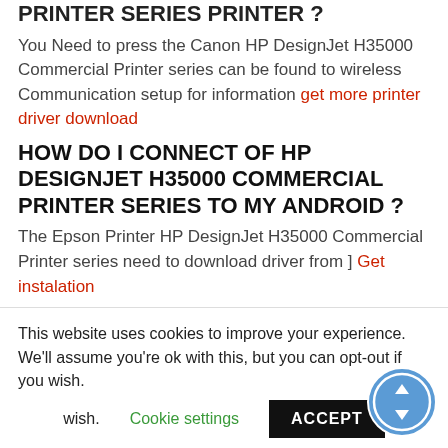PRINTER SERIES PRINTER ?
You Need to press the Canon HP DesignJet H35000 Commercial Printer series can be found to wireless Communication setup for information get more printer driver download
HOW DO I CONNECT OF HP DESIGNJET H35000 COMMERCIAL PRINTER SERIES TO MY ANDROID ?
The Epson Printer HP DesignJet H35000 Commercial Printer series need to download driver from ] Get instalation
WHERE CAN I DOWNLOAD PRINTER DRIVER CANON HP DESIGN JET H35000
This website uses cookies to improve your experience. We'll assume you're ok with this, but you can opt-out if you wish.
Cookie settings  ACCEPT